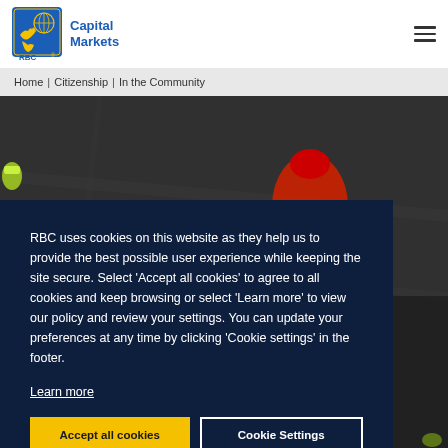RBC Capital Markets
Home | Citizenship | In the Community
[Figure (photo): Aerial view of runners on a dark road surface, wearing colorful athletic gear including a red jersey and yellow shoes, photographed from above.]
RBC uses cookies on this website as they help us to provide the best possible user experience while keeping the site secure. Select 'Accept all cookies' to agree to all cookies and keep browsing or select 'Learn more' to view our policy and review your settings. You can update your preferences at any time by clicking 'Cookie settings' in the footer.
Learn more
Accept all cookies
Cookie Settings